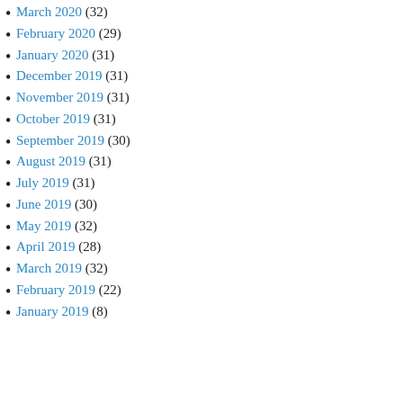March 2020 (32)
February 2020 (29)
January 2020 (31)
December 2019 (31)
November 2019 (31)
October 2019 (31)
September 2019 (30)
August 2019 (31)
July 2019 (31)
June 2019 (30)
May 2019 (32)
April 2019 (28)
March 2019 (32)
February 2019 (22)
January 2019 (8)